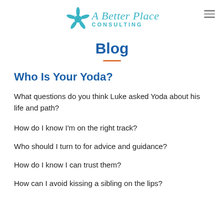[Figure (logo): A Better Place Consulting logo with teal starfish and script/sans-serif text]
Blog
Who Is Your Yoda?
What questions do you think Luke asked Yoda about his life and path?
How do I know I'm on the right track?
Who should I turn to for advice and guidance?
How do I know I can trust them?
How can I avoid kissing a sibling on the lips?